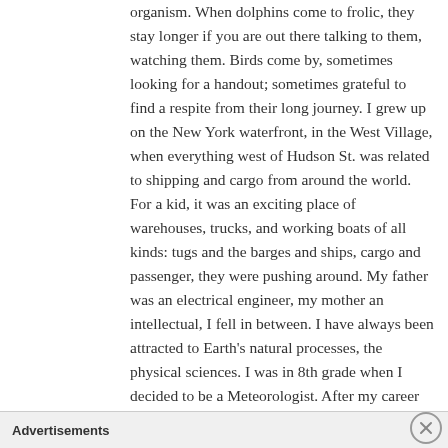organism. When dolphins come to frolic, they stay longer if you are out there talking to them, watching them. Birds come by, sometimes looking for a handout; sometimes grateful to find a respite from their long journey. I grew up on the New York waterfront, in the West Village, when everything west of Hudson St. was related to shipping and cargo from around the world. For a kid, it was an exciting place of warehouses, trucks, and working boats of all kinds: tugs and the barges and ships, cargo and passenger, they were pushing around. My father was an electrical engineer, my mother an intellectual, I fell in between. I have always been attracted to Earth's natural processes, the physical sciences. I was in 8th grade when I decided to be a Meteorologist. After my career in meteorology, my natural interest in earth sciences: geology, astronomy, geography, earth history, made it a natural for me to become a science teacher in New York City, when I moved back to the Big Apple. Teaching led to becoming a high school principal to have the power to truly help kids learn and to be
Advertisements